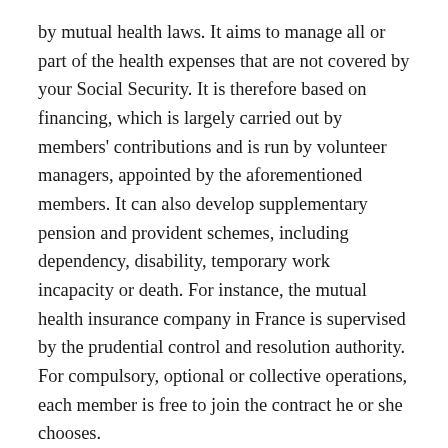by mutual health laws. It aims to manage all or part of the health expenses that are not covered by your Social Security. It is therefore based on financing, which is largely carried out by members' contributions and is run by volunteer managers, appointed by the aforementioned members. It can also develop supplementary pension and provident schemes, including dependency, disability, temporary work incapacity or death. For instance, the mutual health insurance company in France is supervised by the prudential control and resolution authority. For compulsory, optional or collective operations, each member is free to join the contract he or she chooses.
Taking out complementary health insurance
Unlike the case of a group contract enforced by an employer, you are free to choose the establishment with which you would